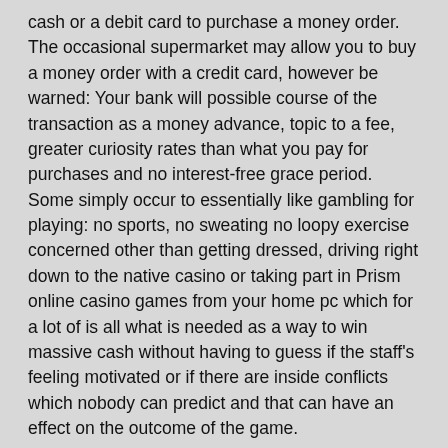cash or a debit card to purchase a money order. The occasional supermarket may allow you to buy a money order with a credit card, however be warned: Your bank will possible course of the transaction as a money advance, topic to a fee, greater curiosity rates than what you pay for purchases and no interest-free grace period. Some simply occur to essentially like gambling for playing: no sports, no sweating no loopy exercise concerned other than getting dressed, driving right down to the native casino or taking part in Prism online casino games from your home pc which for a lot of is all what is needed as a way to win massive cash without having to guess if the staff's feeling motivated or if there are inside conflicts which nobody can predict and that can have an effect on the outcome of the game.
The IGC, a not-for-profit association, was primarily based in 1996 in the US, relocating to Vancouver,